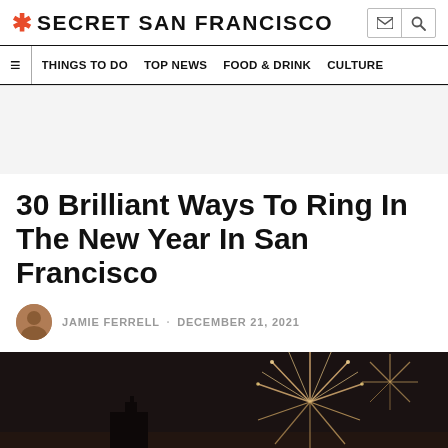* SECRET SAN FRANCISCO
THINGS TO DO   TOP NEWS   FOOD & DRINK   CULTURE
[Figure (other): Gray advertisement banner placeholder]
30 Brilliant Ways To Ring In The New Year In San Francisco
JAMIE FERRELL · DECEMBER 21, 2021
[Figure (photo): Night photo of San Francisco skyline with fireworks bursting in the sky — dark background with golden fireworks display and city building silhouettes]